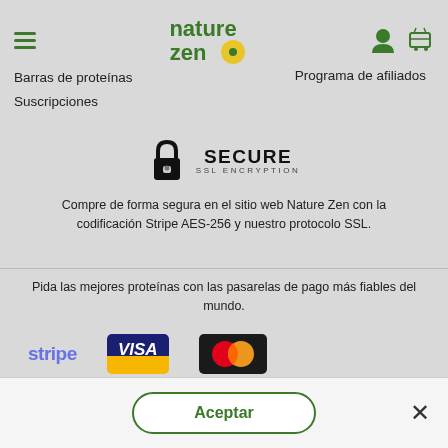[Figure (logo): Nature Zen logo with green text and yellow circle dot, hamburger menu icon on left, user and cart icons on right]
Barras de proteínas
Suscripciones
Programa de afiliados
[Figure (logo): Secure SSL Encryption badge with padlock icon]
Compre de forma segura en el sitio web Nature Zen con la codificación Stripe AES-256 y nuestro protocolo SSL.
Pida las mejores proteínas con las pasarelas de pago más fiables del mundo.
[Figure (logo): Stripe, Visa, and Mastercard payment logos]
por este sitio web bajo el acuerdo que nosotros no lo aceptamos.
Aceptar